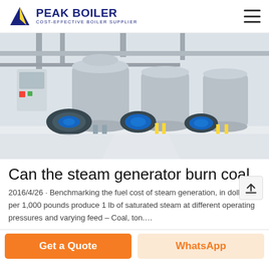PEAK BOILER — COST-EFFECTIVE BOILER SUPPLIER
[Figure (photo): Three industrial steam boilers installed in a boiler room with blue burners, piping, and control panels]
Can the steam generator burn coal
2016/4/26 · Benchmarking the fuel cost of steam generation, in dollars per 1,000 pounds produce 1 lb of saturated steam at different operating pressures and varying feed – Coal, ton….
Get a Quote
WhatsApp